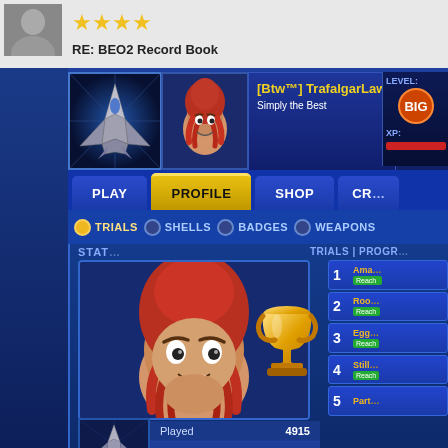[Figure (screenshot): Forum post header with user avatar photo and gold star rating]
RE: BEO2 Record Book
[Figure (screenshot): BEO2 game profile screenshot showing player [Btw™] TrafalgarLaw1996 with motto 'Simply the Best', navigation tabs (PLAY, PROFILE, SHOP, CRE...), sub-tabs (TRIALS, SHELLS, BADGES, WEAPONS), squid character avatar, trophy icon, trials progress panel with entries 1-5 (Ama..., Roo..., Egg..., Still..., Part...), and stats showing Played 4915, Won 4308, Lost 599]